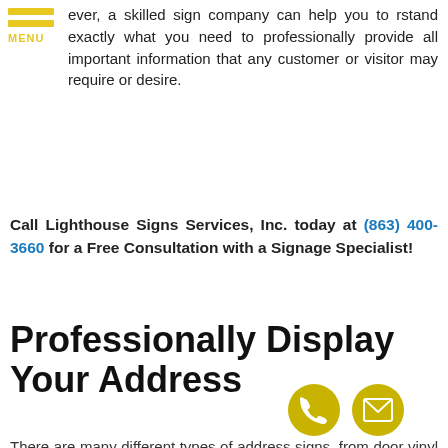[Figure (other): Hamburger menu icon with two yellow horizontal bars and the word MENU in yellow text below]
ever, a skilled sign company can help you to rstand exactly what you need to professionally provide all important information that any customer or visitor may require or desire.
Call Lighthouse Signs Services, Inc. today at (863) 400-3660 for a Free Consultation with a Signage Specialist!
Professionally Display Your Address
There are many different types of address signs, from door vinyl to custom etched blocks. Your address may also be an addition to another sign, such as your monument sign.
[Figure (illustration): Yellow circular phone icon at bottom right]
[Figure (illustration): Yellow circular mail/envelope icon at bottom right]